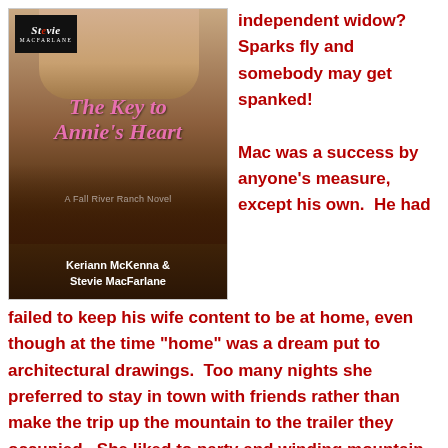[Figure (illustration): Book cover for 'The Key to Annie's Heart - A Fall River Ranch Novel' by Keriann McKenna & Stevie MacFarlane. Features a woman's face at top, pink italic title text, silhouettes of horses and a couple at sunset, with Stevie MacFarlane logo in top left corner.]
independent widow?  Sparks fly and somebody may get spanked!
Mac was a success by anyone's measure, except his own.  He had failed to keep his wife content to be at home, even though at the time "home" was a dream put to architectural drawings.  Too many nights she preferred to stay in town with friends rather than make the trip up the mountain to the trailer they occupied.  She liked to party and winding mountain roads coupled with too